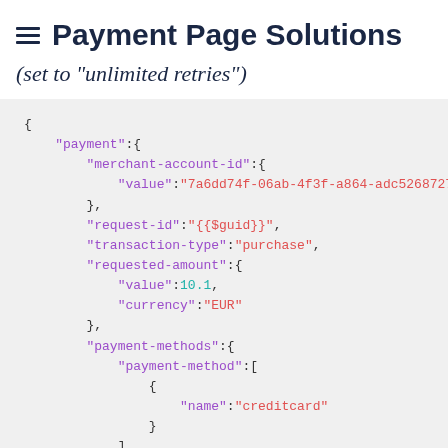Payment Page Solutions
(set to "unlimited retries")
{
    "payment":{
        "merchant-account-id":{
            "value":"7a6dd74f-06ab-4f3f-a864-adc52687270a"
        },
        "request-id":"{{$guid}}",
        "transaction-type":"purchase",
        "requested-amount":{
            "value":10.1,
            "currency":"EUR"
        },
        "payment-methods":{
            "payment-method":[
                {
                    "name":"creditcard"
                }
            ]
        }
    }
}